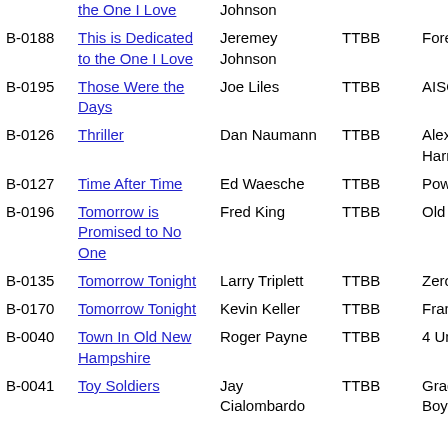| ID | Title | Arranger | Voicing | Publisher |
| --- | --- | --- | --- | --- |
|  | the One I Love | Johnson |  |  |
| B-0188 | This is Dedicated to the One I Love | Jeremey Johnson | TTBB | Forefront |
| B-0195 | Those Were the Days | Joe Liles | TTBB | AISQC |
| B-0126 | Thriller | Dan Naumann | TTBB | Alexandria Harmonize |
| B-0127 | Time After Time | Ed Waesche | TTBB | Power Play |
| B-0196 | Tomorrow is Promised to No One | Fred King | TTBB | Old School |
| B-0135 | Tomorrow Tonight | Larry Triplett | TTBB | Zero Hour |
| B-0170 | Tomorrow Tonight | Kevin Keller | TTBB | Frank the B |
| B-0040 | Town In Old New Hampshire | Roger Payne | TTBB | 4 Under Pa |
| B-0041 | Toy Soldiers | Jay Cialombardo | TTBB | Gradnma's Boys |